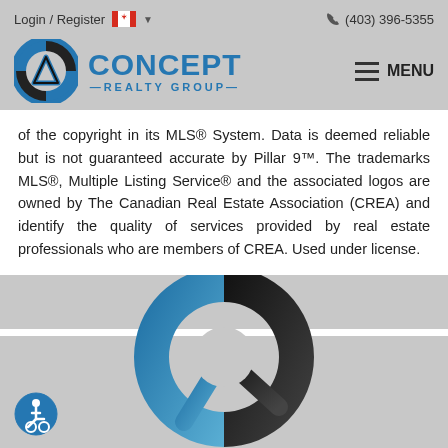Login / Register  (403) 396-5355
[Figure (logo): Concept Realty Group logo with blue circular icon and CONCEPT text in blue, REALTY GROUP below, and hamburger MENU button on right]
of the copyright in its MLS® System. Data is deemed reliable but is not guaranteed accurate by Pillar 9™. The trademarks MLS®, Multiple Listing Service® and the associated logos are owned by The Canadian Real Estate Association (CREA) and identify the quality of services provided by real estate professionals who are members of CREA. Used under license.
[Figure (logo): Large Concept Realty Group circular logo (donut/ring shape) in blue and black, partially cropped at bottom of page]
[Figure (illustration): Accessibility icon — blue circle with wheelchair user symbol in white]